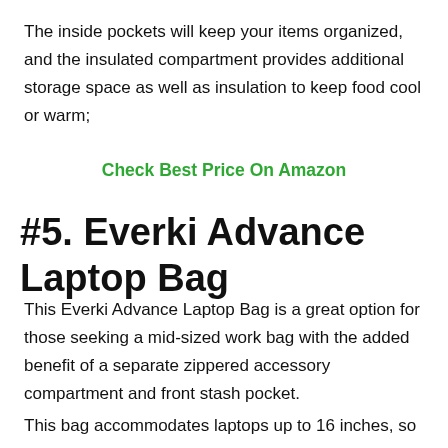The inside pockets will keep your items organized, and the insulated compartment provides additional storage space as well as insulation to keep food cool or warm;
Check Best Price On Amazon
#5. Everki Advance Laptop Bag
This Everki Advance Laptop Bag is a great option for those seeking a mid-sized work bag with the added benefit of a separate zippered accessory compartment and front stash pocket.
This bag accommodates laptops up to 16 inches, so you can